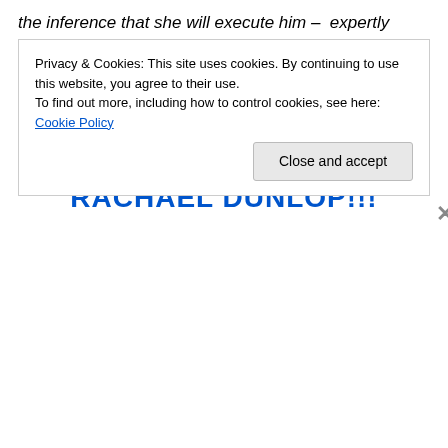the inference that she will execute him – expertly communicated without spelling it out.
And now: appearing for her first time at the top, it's Flash! Friday
DRAGON WINNER
RACHAEL DUNLOP!!!
Privacy & Cookies: This site uses cookies. By continuing to use this website, you agree to their use. To find out more, including how to control cookies, see here: Cookie Policy